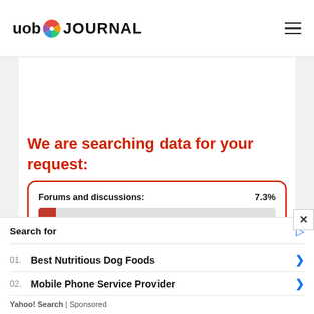uob JOURNAL
We are searching data for your request:
Forums and discussions: 7.3%
Search for
01. Best Nutritious Dog Foods
02. Mobile Phone Service Provider
Yahoo! Search | Sponsored